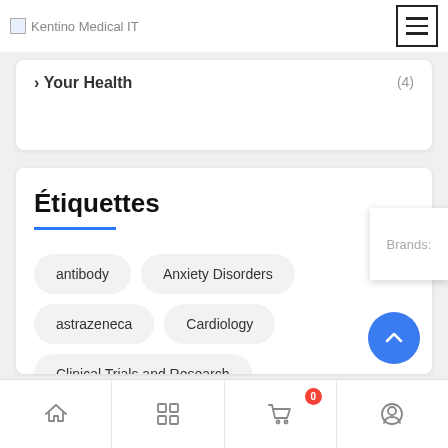Kentino Medical IT
Your Health (4)
Étiquettes
Brands:
antibody
Anxiety Disorders
astrazeneca
Cardiology
Clinical Trials and Research